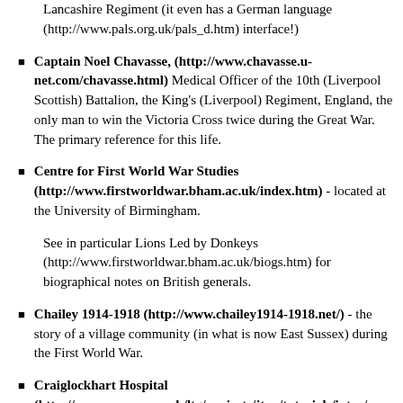Lancashire Regiment (it even has a German language (http://www.pals.org.uk/pals_d.htm) interface!)
Captain Noel Chavasse, (http://www.chavasse.u-net.com/chavasse.html) Medical Officer of the 10th (Liverpool Scottish) Battalion, the King's (Liverpool) Regiment, England, the only man to win the Victoria Cross twice during the Great War. The primary reference for this life.
Centre for First World War Studies (http://www.firstworldwar.bham.ac.uk/index.htm) - located at the University of Birmingham.
See in particular Lions Led by Donkeys (http://www.firstworldwar.bham.ac.uk/biogs.htm) for biographical notes on British generals.
Chailey 1914-1918 (http://www.chailey1914-1918.net/) - the story of a village community (in what is now East Sussex) during the First World War.
Craiglockhart Hospital (http://www.oucs.ox.ac.uk/ltg/projects/jtap/tutorials/intro/craiglockhart.html) and the poets Sassoon and Owens.
First World War (http://...